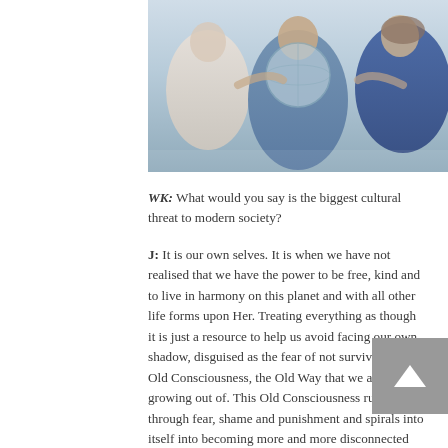[Figure (photo): Three people standing together holding up a large globe or spherical object in front of them outdoors.]
WK: What would you say is the biggest cultural threat to modern society?
J: It is our own selves. It is when we have not realised that we have the power to be free, kind and to live in harmony on this planet and with all other life forms upon Her. Treating everything as though it is just a resource to help us avoid facing our own shadow, disguised as the fear of not surviving, is the Old Consciousness, the Old Way that we are growing out of. This Old Consciousness rules us through fear, shame and punishment and spirals into itself into becoming more and more disconnected and stuck in the confines of its